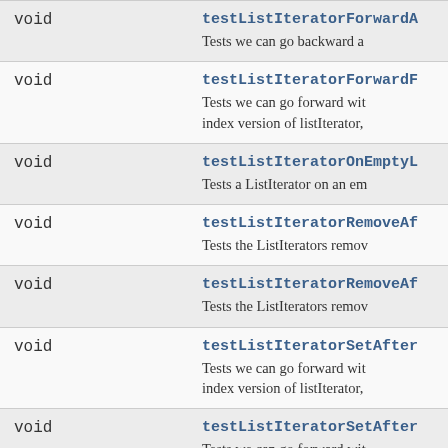| Return type | Method and description |
| --- | --- |
| void | testListIteratorForwardA
Tests we can go backward a |
| void | testListIteratorForwardF
Tests we can go forward with
index version of listIterator, |
| void | testListIteratorOnEmptyL
Tests a ListIterator on an em |
| void | testListIteratorRemoveAf
Tests the ListIterators remov |
| void | testListIteratorRemoveAf
Tests the ListIterators remov |
| void | testListIteratorSetAfter
Tests we can go forward with
index version of listIterator, |
| void | testListIteratorSetAfter
Tests we can go forward with
index version of listIterator, |